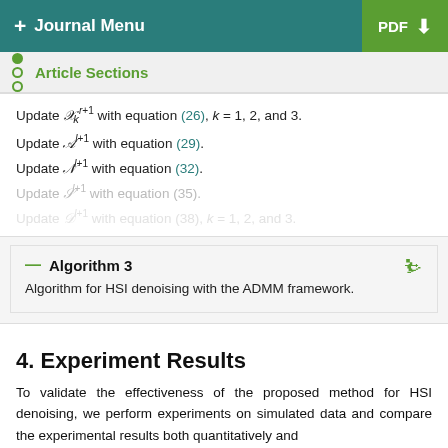+ Journal Menu | PDF
Article Sections
Update X_k^{r+1} with equation (26), k = 1, 2, and 3.
Update A^{l+1} with equation (29).
Update N^{l+1} with equation (32).
Update S^{l+1} with equation (35).
Update D^{l+1} with equation (38), k = 1, 2, and 3.
Algorithm 3
Algorithm for HSI denoising with the ADMM framework.
4. Experiment Results
To validate the effectiveness of the proposed method for HSI denoising, we perform experiments on simulated data and compare the experimental results both quantitatively and